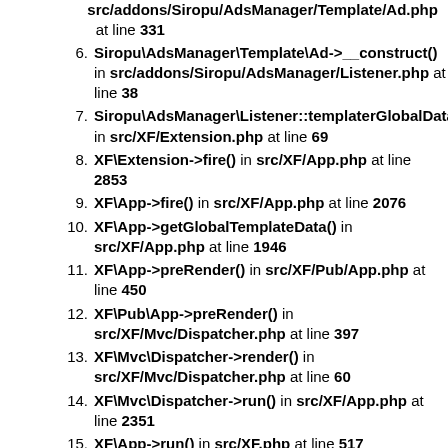at line 331
6. Siropu\AdsManager\Template\Ad->__construct() in src/addons/Siropu/AdsManager/Listener.php at line 38
7. Siropu\AdsManager\Listener::templaterGlobalData() in src/XF/Extension.php at line 69
8. XF\Extension->fire() in src/XF/App.php at line 2853
9. XF\App->fire() in src/XF/App.php at line 2076
10. XF\App->getGlobalTemplateData() in src/XF/App.php at line 1946
11. XF\App->preRender() in src/XF/Pub/App.php at line 450
12. XF\Pub\App->preRender() in src/XF/Mvc/Dispatcher.php at line 397
13. XF\Mvc\Dispatcher->render() in src/XF/Mvc/Dispatcher.php at line 60
14. XF\Mvc\Dispatcher->run() in src/XF/App.php at line 2351
15. XF\App->run() in src/XF.php at line 517
16. XF::runApp() in index.php at line 20
13. SELECT `xf_session_activity`.* FROM `xf_session_activity`